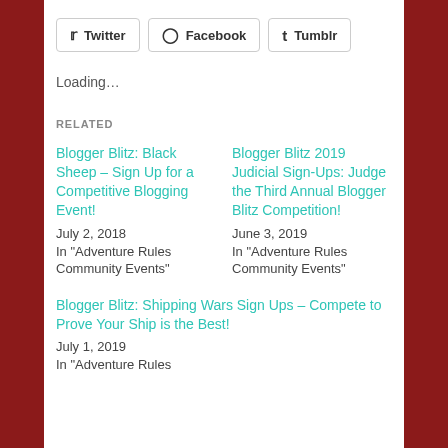[Figure (other): Row of social sharing buttons: Twitter, Facebook, Tumblr]
Loading...
RELATED
Blogger Blitz: Black Sheep – Sign Up for a Competitive Blogging Event!
July 2, 2018
In "Adventure Rules Community Events"
Blogger Blitz 2019 Judicial Sign-Ups: Judge the Third Annual Blogger Blitz Competition!
June 3, 2019
In "Adventure Rules Community Events"
Blogger Blitz: Shipping Wars Sign Ups – Compete to Prove Your Ship is the Best!
July 1, 2019
In "Adventure Rules